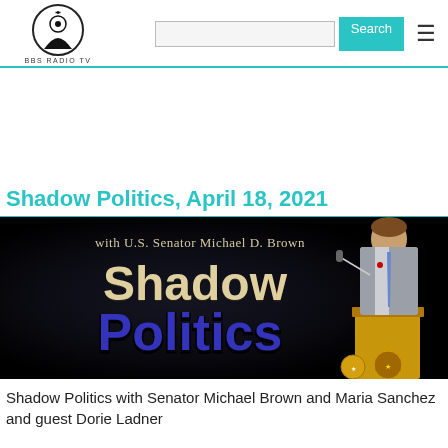BBS RADIO TV — Search
Shadow Politics, April 18, 2021
[Figure (illustration): Shadow Politics show banner with U.S. Senator Michael D. Brown at a podium. Text reads 'with U.S. Senator Michael D. Brown' and 'Shadow Politics' in large stylized letters on a dark background.]
Shadow Politics with Senator Michael Brown and Maria Sanchez and guest Dorie Ladner